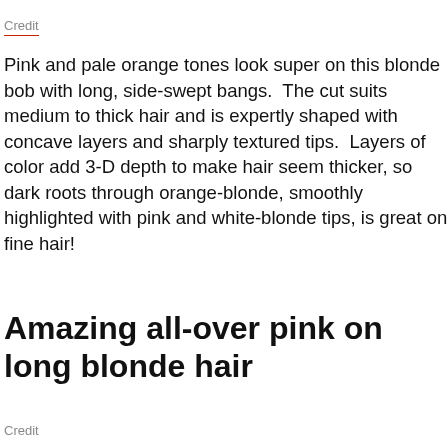Credit
Pink and pale orange tones look super on this blonde bob with long, side-swept bangs.  The cut suits medium to thick hair and is expertly shaped with concave layers and sharply textured tips.  Layers of color add 3-D depth to make hair seem thicker, so dark roots through orange-blonde, smoothly highlighted with pink and white-blonde tips, is great on fine hair!
Amazing all-over pink on long blonde hair
Credit